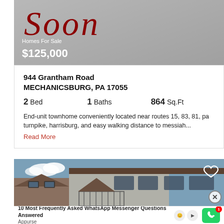[Figure (photo): Coming soon real estate listing image with grey background, cursive 'Soon' text in dark red, showing 'Homes For Sale' and price $125,000 in white text]
Homes For Sale
$125,000
944 Grantham Road
MECHANICSBURG, PA 17055
2 Bed  1 Baths  864 Sq.Ft
End-unit townhome conveniently located near routes 15, 83, 81, pa turnpike, harrisburg, and easy walking distance to messiah...
Read More
[Figure (photo): Exterior photo of townhome showing roof, brown shingles, skylights, balconies and grey stucco exterior with heart icon and close button]
10 Most Frequently Asked WhatsApp Messenger Questions Answered
Appurse